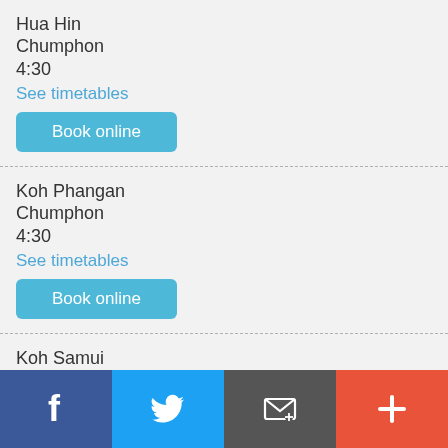Hua Hin
Chumphon
4:30
See timetables
Book online
Koh Phangan
Chumphon
4:30
See timetables
Book online
Koh Samui
Chumphon
6:00
See timetables
Book online
Facebook | Twitter | Email | More